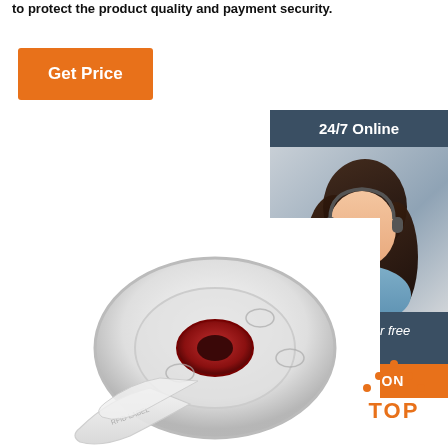to protect the product quality and payment security.
Get Price
[Figure (photo): Customer service widget with '24/7 Online' header, photo of smiling woman with headset, 'Click here for free chat!' text, and QUOTATION button]
[Figure (photo): Product photo: roll of white RFID/NFC label tape with red core, partially unrolled]
[Figure (logo): TOP logo with orange dots arranged in triangle above orange text 'TOP']